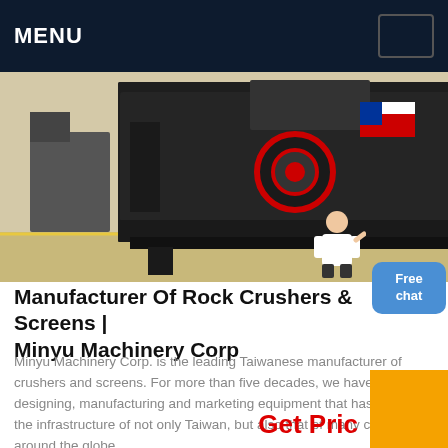MENU
[Figure (photo): Large industrial rock crusher/impact crusher machine in dark grey color, with a red circular element on the front, American flag visible in the background, photographed outdoors on a factory lot.]
Manufacturer Of Rock Crushers & Screens | Minyu Machinery Corp
Minyu Machinery Corp. is the leading Taiwanese manufacturer of crushers and screens. For more than five decades, we have been designing, manufacturing and marketing equipment that has changed the infrastructure of not only Taiwan, but also that of many countries around the globe.
Get Pric